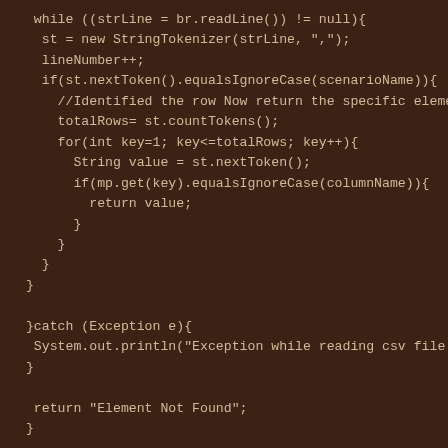while ((strLine = br.readLine()) != null){
  st = new StringTokenizer(strLine, ",");
  lineNumber++;
  if(st.nextToken().equalsIgnoreCase(scenarioName)){
    //Identified the row Now return the specific element
    totalRows= st.countTokens();
    for(int key=1; key<=totalRows; key++){
      String value = st.nextToken();
      if(mp.get(key).equalsIgnoreCase(columnName)){
        return value;
      }
    }
  }
}

}catch (Exception e){
 System.out.println("Exception while reading csv file:
}

 return "Element Not Found";
}

//This is just to show usage, you can discard this when
public static void main(String[] args) {
 ReadCSV rc = new ReadCSV();
 System.out.println(rc.getValue("valid", "username","dat